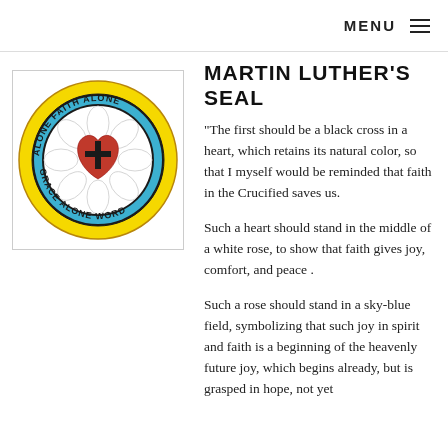MENU
[Figure (illustration): Martin Luther's Seal / Luther Rose stained glass style image with a black cross in a red heart, surrounded by a white rose, inside a blue ring and yellow outer ring with text: ALONE, FAITH, ALONE, GRACE, ALONE, WORD, ALONE around the border.]
MARTIN LUTHER'S SEAL
"The first should be a black cross in a heart, which retains its natural color, so that I myself would be reminded that faith in the Crucified saves us.
Such a heart should stand in the middle of a white rose, to show that faith gives joy, comfort, and peace .
Such a rose should stand in a sky-blue field, symbolizing that such joy in spirit and faith is a beginning of the heavenly future joy, which begins already, but is grasped in hope, not yet